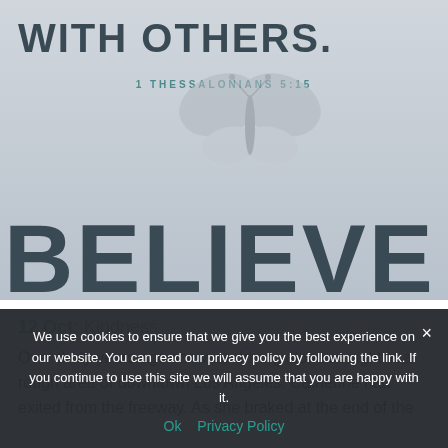[Figure (illustration): Hero image with text 'WITH OTHERS.' at top, '1 THESSALONIANS 5:15' scripture reference, butterfly illustration in center, and large 'BELIEVE' text at bottom, all on a gray-blue muted background]
12 Oct: Kindness
Over thirty years ago she was driving alone at night in a rough area of downtown Los Angeles. Catherine had exited from the freeway. As she braked at the end of the
We use cookies to ensure that we give you the best experience on our website. You can read our privacy policy by following the link. If you continue to use this site we will assume that you are happy with it.
Ok   Privacy Policy